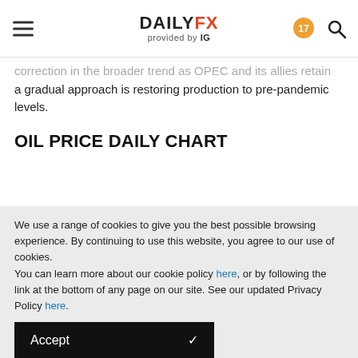DAILYFX provided by IG
correction in the broader trend as OPEC and its allies retain a gradual approach is restoring production to pre-pandemic levels.
OIL PRICE DAILY CHART
We use a range of cookies to give you the best possible browsing experience. By continuing to use this website, you agree to our use of cookies.
You can learn more about our cookie policy here, or by following the link at the bottom of any page on our site. See our updated Privacy Policy here.
Accept